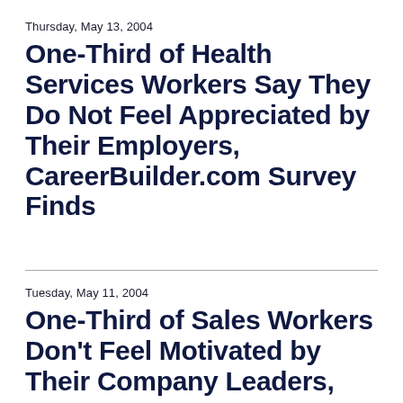Thursday, May 13, 2004
One-Third of Health Services Workers Say They Do Not Feel Appreciated by Their Employers, CareerBuilder.com Survey Finds
Tuesday, May 11, 2004
One-Third of Sales Workers Don't Feel Motivated by Their Company Leaders,